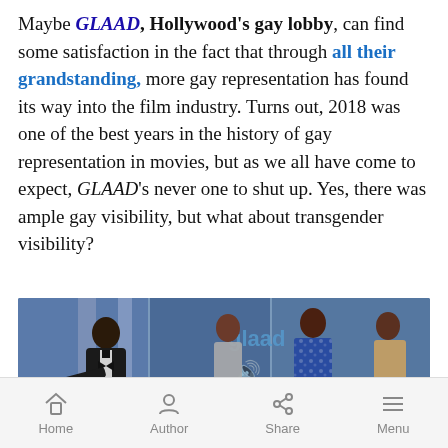Maybe GLAAD, Hollywood's gay lobby, can find some satisfaction in the fact that through all their grandstanding, more gay representation has found its way into the film industry. Turns out, 2018 was one of the best years in the history of gay representation in movies, but as we all have come to expect, GLAAD's never one to shut up. Yes, there was ample gay visibility, but what about transgender visibility?
[Figure (photo): A GLAAD awards ceremony scene with four people on stage. A man in a black tuxedo stands at a podium on the left, two women stand in the middle and right, and another woman in a floral dress stands far right. A 'glaad' logo is visible in the background on blue backdrop.]
Home  Author  Share  Menu